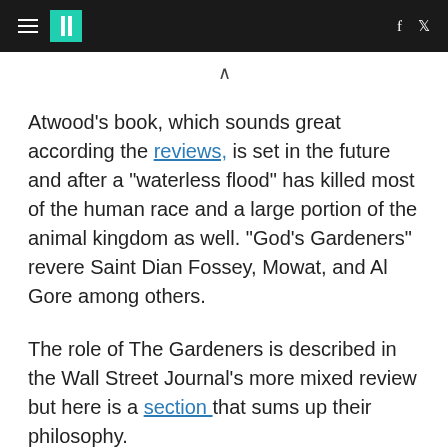HuffPost navigation bar with logo, hamburger menu, Facebook and Twitter icons
Atwood's book, which sounds great according the reviews, is set in the future and after a "waterless flood" has killed most of the human race and a large portion of the animal kingdom as well. "God's Gardeners" revere Saint Dian Fossey, Mowat, and Al Gore among others.
The role of The Gardeners is described in the Wall Street Journal's more mixed review but here is a section that sums up their philosophy.
In this not-so-peaceable kingdom, many